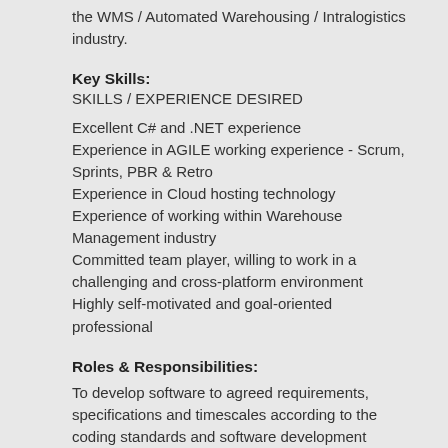the WMS / Automated Warehousing / Intralogistics industry.
Key Skills:
SKILLS / EXPERIENCE DESIRED
Excellent C# and .NET experience
Experience in AGILE working experience - Scrum, Sprints, PBR & Retro
Experience in Cloud hosting technology
Experience of working within Warehouse Management industry
Committed team player, willing to work in a challenging and cross-platform environment
Highly self-motivated and goal-oriented professional
Roles & Responsibilities:
To develop software to agreed requirements, specifications and timescales according to the coding standards and software development practices in place, using the tools provided
Apply competent problem solving and research skills in support of day to day design or product